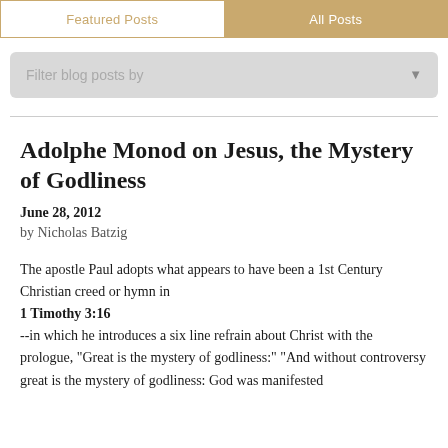Featured Posts | All Posts
Filter blog posts by
Adolphe Monod on Jesus, the Mystery of Godliness
June 28, 2012
by Nicholas Batzig
The apostle Paul adopts what appears to have been a 1st Century Christian creed or hymn in 1 Timothy 3:16 --in which he introduces a six line refrain about Christ with the prologue, "Great is the mystery of godliness:" "And without controversy great is the mystery of godliness: God was manifested in the flesh, Justified in the Spirit, Seen by angels, Preached among the Gentiles, Believed on in the world, Received up into glory."